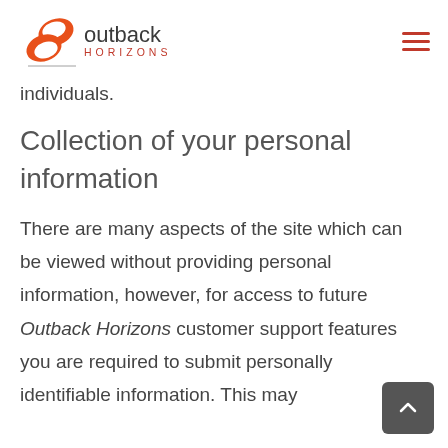[Figure (logo): Outback Horizons logo with orange swirl icon and company name]
individuals.
Collection of your personal information
There are many aspects of the site which can be viewed without providing personal information, however, for access to future Outback Horizons customer support features you are required to submit personally identifiable information. This may